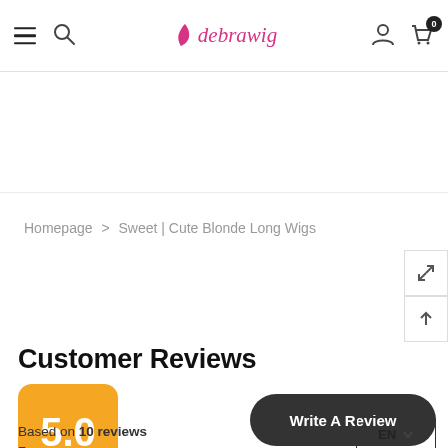debrawig — navigation bar with hamburger menu, search icon, logo, user icon, cart (0)
Homepage > Sweet | Cute Blonde Long Wigs
Customer Reviews
5.0
Write A Review
Based on 10 reviews
EN
5 ★ 10